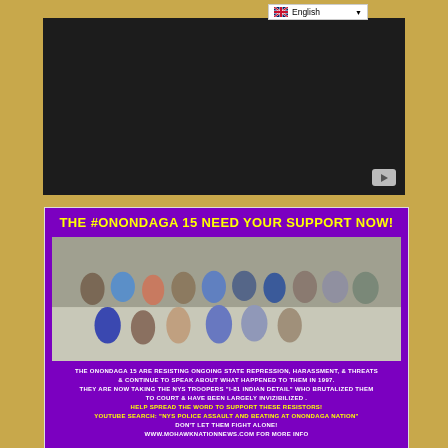[Figure (screenshot): Language selector dropdown showing UK flag and 'English' text]
[Figure (screenshot): Embedded video player showing a black screen with a YouTube play button in the bottom right corner]
[Figure (infographic): Purple flyer with text 'THE #ONONDAGA15 NEED YOUR SUPPORT NOW!' in yellow, a group photo of approximately 15 people seated outdoors, and white/yellow text describing the Onondaga 15 situation and calling for support. Includes YouTube search instruction and website URL www.mohawknationnews.com]
May 18, 1997: hundreds of militarized NY state troopers in riot gear -operating as a specially formed unit, 'I-81 INDIAN Detail' - brutally assaulted hundreds of Haudenosaunee people gathered to discuss issues harming their communities. During opening ceremony prayer Baton wielding police -operating under the instructions to 'talk to no one and take anyone you can' - began beating and clubbing babes, children,